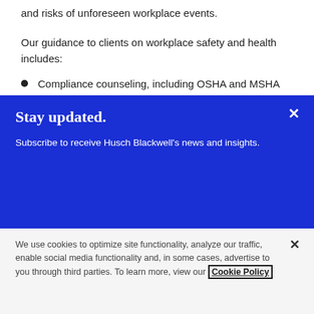and risks of unforeseen workplace events.
Our guidance to clients on workplace safety and health includes:
Compliance counseling, including OSHA and MSHA
Agency investigations
Defense of agency citations, including
Stay updated.

Subscribe to receive Husch Blackwell's news and insights.
We use cookies to optimize site functionality, analyze our traffic, enable social media functionality and, in some cases, advertise to you through third parties. To learn more, view our Cookie Policy